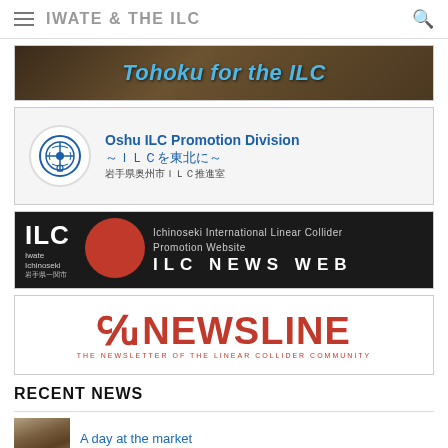IWATE & THE ILC
[Figure (illustration): Banner with 'Tohoku for the ILC' text in blue italic on dark brown background]
[Figure (logo): Oshu ILC Promotion Division banner with circular logo, Japanese and English text: ~ILCを東北に~ 岩手県奥州市ILC推進室]
[Figure (logo): ILC News Web banner - Ichinoseki International Linear Collider Promotion Website, dark background with red circle accent]
[Figure (logo): NEWSLINE - The Newsletter of the Linear Collider Community logo in red]
RECENT NEWS
A day at the market